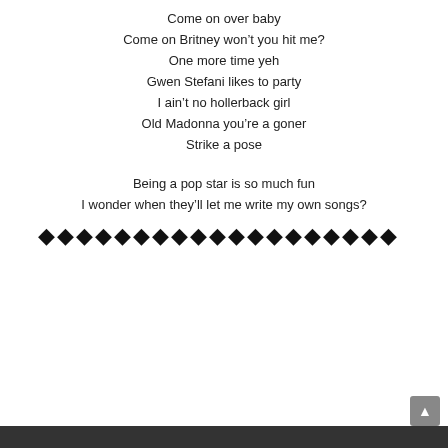Come on over baby
Come on Britney won’t you hit me?
One more time yeh
Gwen Stefani likes to party
I ain’t no hollerback girl
Old Madonna you’re a goner
Strike a pose
Being a pop star is so much fun
I wonder when they’ll let me write my own songs?
◆◆◆◆◆◆◆◆◆◆◆◆◆◆◆◆◆◆◆